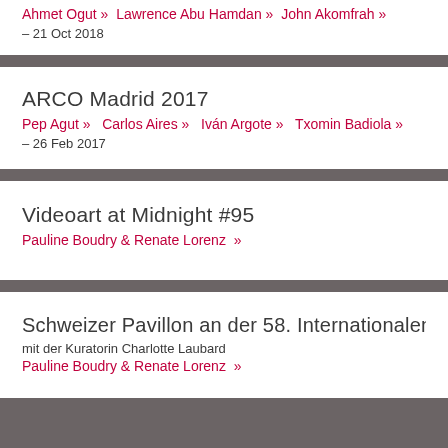Ahmet Ogut » Lawrence Abu Hamdan » John Akomfrah »
– 21 Oct 2018
ARCO Madrid 2017
Pep Agut »  Carlos Aires »  Iván Argote »  Txomin Badiola »
– 26 Feb 2017
Videoart at Midnight #95
Pauline Boudry & Renate Lorenz  »
Schweizer Pavillon an der 58. Internationalen Ku
mit der Kuratorin Charlotte Laubard
Pauline Boudry & Renate Lorenz  »